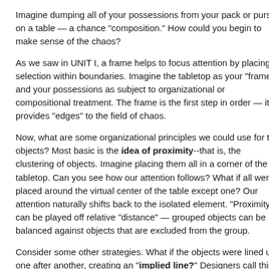Imagine dumping all of your possessions from your pack or purse on a table — a chance "composition." How could you begin to make sense of the chaos?
As we saw in UNIT I, a frame helps to focus attention by placing a selection within boundaries. Imagine the tabletop as your "frame", and your possessions as subject to organizational or compositional treatment. The frame is the first step in order — it provides "edges" to the field of chaos.
Now, what are some organizational principles we could use for the objects? Most basic is the idea of proximity--that is, the clustering of objects. Imagine placing them all in a corner of the tabletop. Can you see how our attention follows? What if all were placed around the virtual center of the table except one? Our attention naturally shifts back to the isolated element. "Proximity" can be played off relative "distance" — grouped objects can be balanced against objects that are excluded from the group.
Consider some other strategies. What if the objects were lined up, one after another, an "implied line?" Designers call this continuation or contiguity. We can use visual elements (such as grids or controlling lines) to create an implied relationship betw…